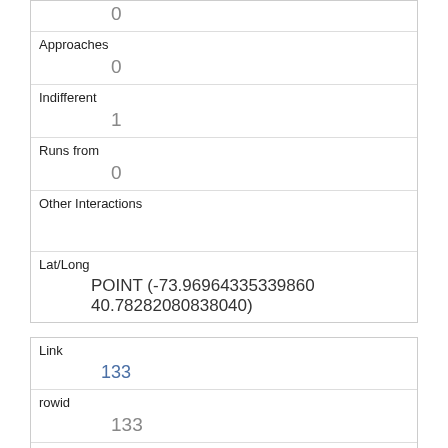| Field | Value |
| --- | --- |
|  | 0 |
| Approaches | 0 |
| Indifferent | 1 |
| Runs from | 0 |
| Other Interactions |  |
| Lat/Long | POINT (-73.96964335339860 40.78282080838040) |
| Field | Value |
| --- | --- |
| Link | 133 |
| rowid | 133 |
| longitude | -73.9664711607022 |
| latitude | 40.787896428768 |
| Unique Squirrel ID |  |